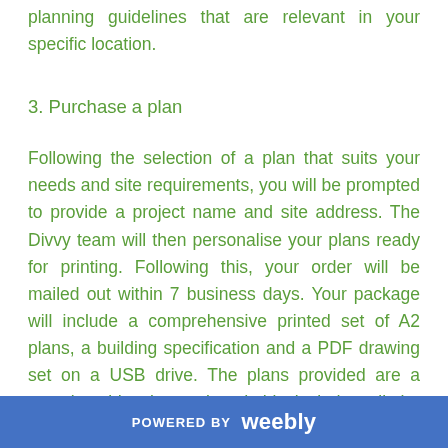planning guidelines that are relevant in your specific location.
3. Purchase a plan
Following the selection of a plan that suits your needs and site requirements, you will be prompted to provide a project name and site address. The Divvy team will then personalise your plans ready for printing. Following this, your order will be mailed out within 7 business days. Your package will include a comprehensive printed set of A2 plans, a building specification and a PDF drawing set on a USB drive. The plans provided are a complete 'drawing set' and this includes all the necessary design and technical
POWERED BY weebly